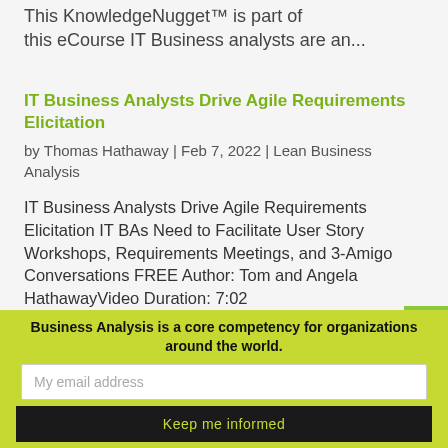This KnowledgeNugget™ is part of this eCourse IT Business analysts are an...
IT Business Analysts Drive Agile Requirements Elicitation
by Thomas Hathaway | Feb 7, 2022 | Lean Business Analysis
IT Business Analysts Drive Agile Requirements Elicitation IT BAs Need to Facilitate User Story Workshops, Requirements Meetings, and 3-Amigo Conversations FREE Author: Tom and Angela HathawayVideo Duration: 7:02
Business Analysis is a core competency for organizations around the world.
My email address
Keep me informed